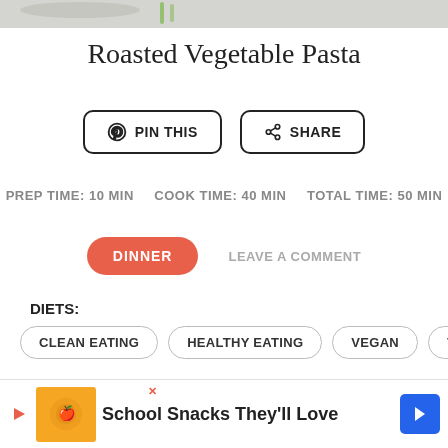[Figure (photo): Partial photo of roasted vegetable pasta dish at the top of the page]
Roasted Vegetable Pasta
PIN THIS   SHARE
PREP TIME: 10 MIN   COOK TIME: 40 MIN   TOTAL TIME: 50 MIN
DINNER   LEAVE A COMMENT
DIETS:
CLEAN EATING
HEALTHY EATING
VEGAN
VEGETARI
PRINT RECIPE   DOWNLOAD PDF
[Figure (screenshot): Advertisement banner: School Snacks They'll Love]